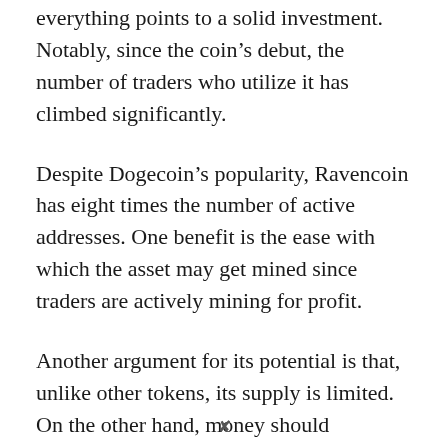everything points to a solid investment. Notably, since the coin's debut, the number of traders who utilize it has climbed significantly.
Despite Dogecoin's popularity, Ravencoin has eight times the number of active addresses. One benefit is the ease with which the asset may get mined since traders are actively mining for profit.
Another argument for its potential is that, unlike other tokens, its supply is limited. On the other hand, money should determine whether you will invest in